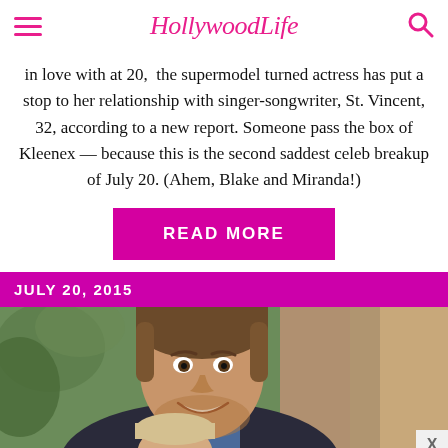HollywoodLife
in love with at 20,  the supermodel turned actress has put a stop to her relationship with singer-songwriter, St. Vincent, 32, according to a new report. Someone pass the box of Kleenex — because this is the second saddest celeb breakup of July 20. (Ahem, Blake and Miranda!)
READ MORE
JULY 20, 2015
[Figure (photo): Man smiling at camera with a child in front of him, green foliage background, indoor setting with curtains]
WE HELP CONTENT CREATORS GROW BUSINESSES THROUGH... SHE PARTNER NETWORK BECOME A MEMBER LEARN MORE